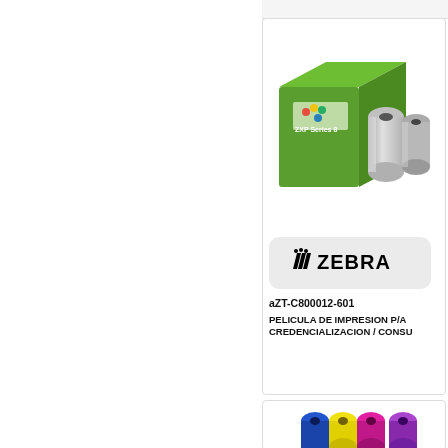[Figure (photo): Zebra ZXP Series 8 ribbon box with two silver foil ribbon rolls next to it]
[Figure (logo): Zebra Technologies logo on a rounded rectangle gray background]
aZT-C800012-601
PELICULA DE IMPRESION P/A CREDENCIALIZACION / CONSU
[Figure (photo): Colorful YMCK ribbon roll with blue, yellow, magenta, and black panels]